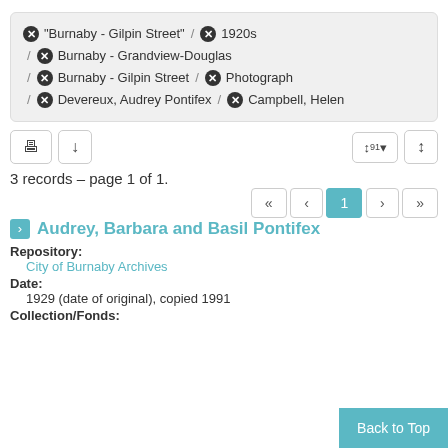"Burnaby - Gilpin Street" / 1920s / Burnaby - Grandview-Douglas / Burnaby - Gilpin Street / Photograph / Devereux, Audrey Pontifex / Campbell, Helen
3 records – page 1 of 1.
Audrey, Barbara and Basil Pontifex
Repository:
City of Burnaby Archives
Date:
1929 (date of original), copied 1991
Collection/Fonds: